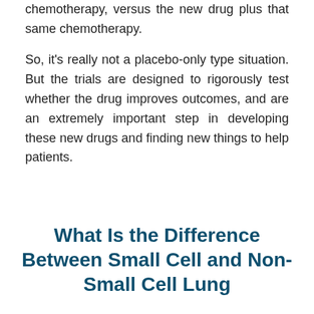chemotherapy, versus the new drug plus that same chemotherapy.
So, it's really not a placebo-only type situation. But the trials are designed to rigorously test whether the drug improves outcomes, and are an extremely important step in developing these new drugs and finding new things to help patients.
What Is the Difference Between Small Cell and Non-Small Cell Lung